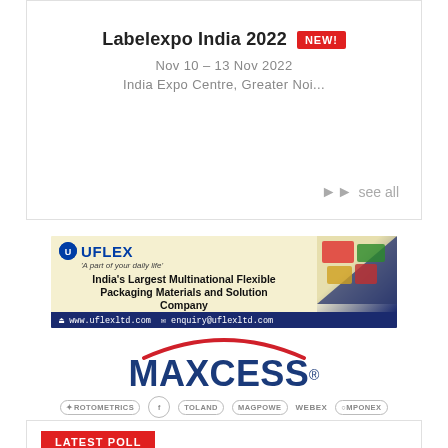Labelexpo India 2022 NEW!
Nov 10 – 13 Nov 2022
India Expo Centre, Greater Noi...
see all
[Figure (logo): UFlex advertisement banner: India's Largest Multinational Flexible Packaging Materials and Solution Company. www.uflexltd.com | enquiry@uflexltd.com]
[Figure (logo): Maxcess logo with arc above text, and sub-brands: RotoMetrics, FIT, Toland, MagPowe, WEBEX, Componex]
LATEST POLL